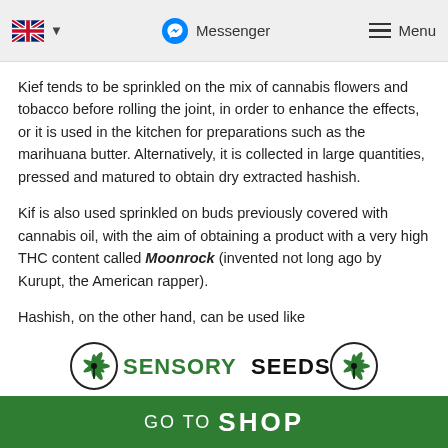🇬🇧 ▾   Messenger   ☰ Menu
Kief tends to be sprinkled on the mix of cannabis flowers and tobacco before rolling the joint, in order to enhance the effects, or it is used in the kitchen for preparations such as the marihuana butter. Alternatively, it is collected in large quantities, pressed and matured to obtain dry extracted hashish.
Kif is also used sprinkled on buds previously covered with cannabis oil, with the aim of obtaining a product with a very high THC content called Moonrock (invented not long ago by Kurupt, the American rapper).
Hashish, on the other hand, can be used like
[Figure (logo): Sensory Seeds logo with two cannabis leaf icons in circles and green and black text reading SENSORY SEEDS]
GO TO SHOP